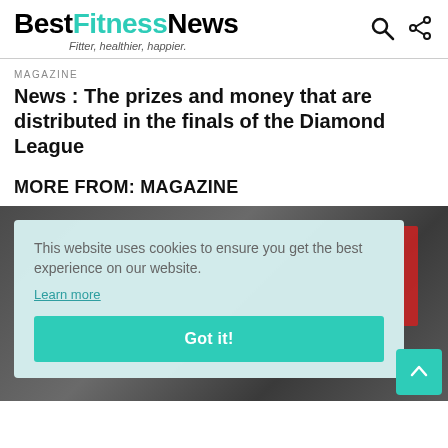BestFitnessNews — Fitter, healthier, happier.
MAGAZINE
News : The prizes and money that are distributed in the finals of the Diamond League
MORE FROM: MAGAZINE
[Figure (photo): Background sports/street photo partially visible behind cookie consent banner]
This website uses cookies to ensure you get the best experience on our website.
Learn more
Got it!